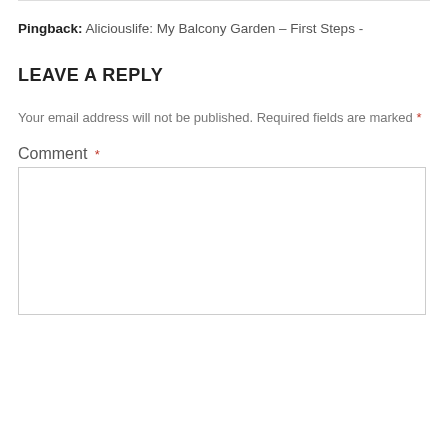Pingback: Aliciouslife: My Balcony Garden – First Steps -
LEAVE A REPLY
Your email address will not be published. Required fields are marked *
Comment *